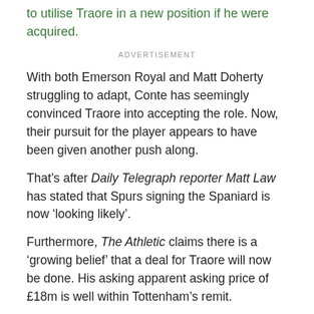to utilise Traore in a new position if he were acquired.
ADVERTISEMENT
With both Emerson Royal and Matt Doherty struggling to adapt, Conte has seemingly convinced Traore into accepting the role. Now, their pursuit for the player appears to have been given another push along.
That’s after Daily Telegraph reporter Matt Law has stated that Spurs signing the Spaniard is now ‘looking likely’.
Furthermore, The Athletic claims there is a ‘growing belief’ that a deal for Traore will now be done. His asking apparent asking price of £18m is well within Tottenham’s remit.
That fee may well include a number of incentives that could take the fee nearer to the £25m mark. But all told, it is some way short of the £50m Wolves were seeking in summer 2020.
Spurs could even look to use Doherty as part of the deal.